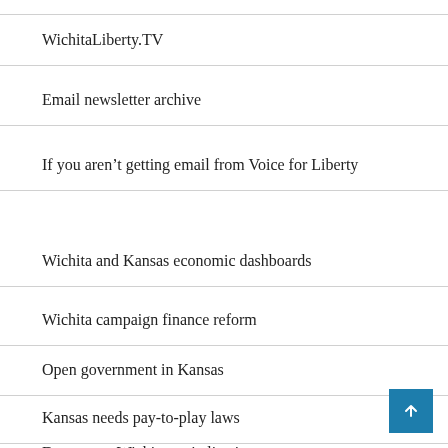WichitaLiberty.TV
Email newsletter archive
If you aren't getting email from Voice for Liberty
Wichita and Kansas economic dashboards
Wichita campaign finance reform
Open government in Kansas
Kansas needs pay-to-play laws
Downtown Wichita revitalization